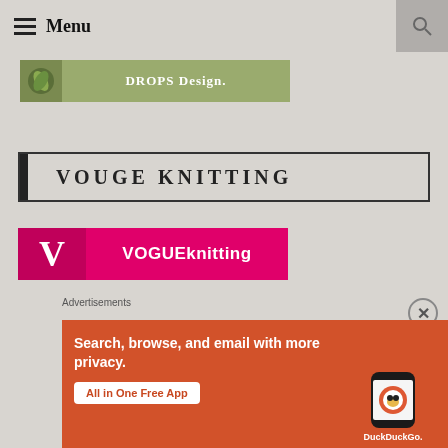≡ Menu
[Figure (logo): DROPS Design logo banner in olive green with leaf icon]
VOUGE KNITTING
[Figure (logo): VOGUEknitting logo banner in hot pink/magenta with large V on left]
Advertisements
[Figure (infographic): DuckDuckGo ad: Search, browse, and email with more privacy. All in One Free App. Orange background with phone showing DuckDuckGo app.]